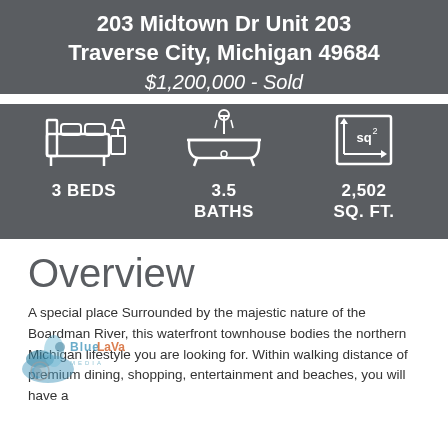203 Midtown Dr Unit 203
Traverse City, Michigan 49684
$1,200,000 - Sold
[Figure (infographic): Property stats icons: 3 BEDS, 3.5 BATHS, 2,502 SQ. FT. with corresponding icons for bed, bath, and square footage]
Overview
A special place Surrounded by the majestic nature of the Boardman River, this waterfront townhouse bodies the northern Michigan lifestyle you are looking for. Within walking distance of premium dining, shopping, entertainment and beaches, you will have a